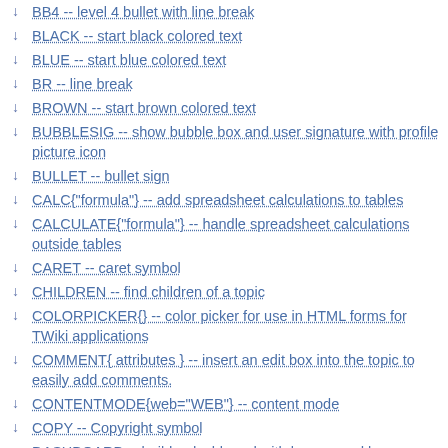BB4 -- level 4 bullet with line break
BLACK -- start black colored text
BLUE -- start blue colored text
BR -- line break
BROWN -- start brown colored text
BUBBLESIG -- show bubble box and user signature with profile picture icon
BULLET -- bullet sign
CALC{"formula"} -- add spreadsheet calculations to tables
CALCULATE{"formula"} -- handle spreadsheet calculations outside tables
CARET -- caret symbol
CHILDREN -- find children of a topic
COLORPICKER{} -- color picker for use in HTML forms for TWiki applications
COMMENT{ attributes } -- insert an edit box into the topic to easily add comments.
CONTENTMODE{web="WEB"} -- content mode
COPY -- Copyright symbol
DASHBOARD -- build a dashboard with banner and boxes
DATE -- show current date